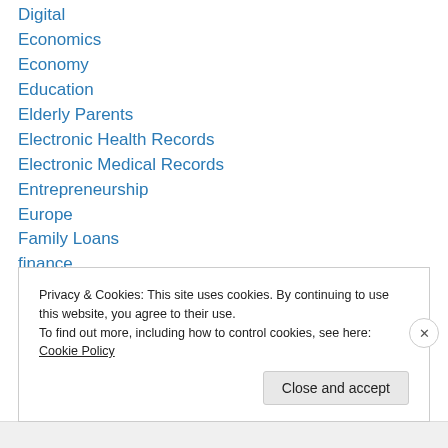Digital
Economics
Economy
Education
Elderly Parents
Electronic Health Records
Electronic Medical Records
Entrepreneurship
Europe
Family Loans
finance
Financial
financial health
Privacy & Cookies: This site uses cookies. By continuing to use this website, you agree to their use.
To find out more, including how to control cookies, see here: Cookie Policy
Close and accept